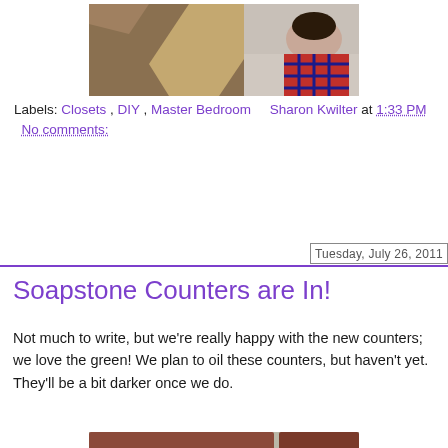[Figure (photo): Person working on closet/wall, shot from above showing plaid shirt and cardboard/drywall]
Labels: Closets , DIY , Master Bedroom    Sharon Kwilter at 1:33 PM    No comments:
[Figure (other): Share button (purple rounded rectangle)]
Tuesday, July 26, 2011
Soapstone Counters are In!
Not much to write, but we're really happy with the new counters; we love the green! We plan to oil these counters, but haven't yet. They'll be a bit darker once we do.
[Figure (photo): Kitchen counter area showing soapstone countertop being installed, with cabinet above and blue fasteners visible]